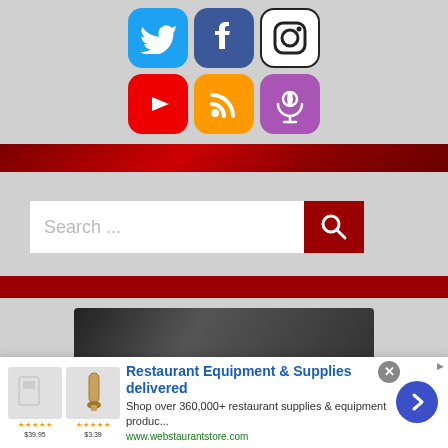[Figure (screenshot): Social media icons: Twitter (blue bird), Facebook (blue f), Instagram (black camera outline), YouTube (red play), RSS (orange feed), Podcast (purple microphone)]
[Figure (screenshot): Search bar with placeholder text 'Search ...' and a dark red search button with magnifying glass icon]
[Figure (screenshot): Bottom section with partial dark image visible]
[Figure (screenshot): Advertisement banner: 'Restaurant Equipment & Supplies delivered' from webstaurantstore.com with product images and blue arrow button]